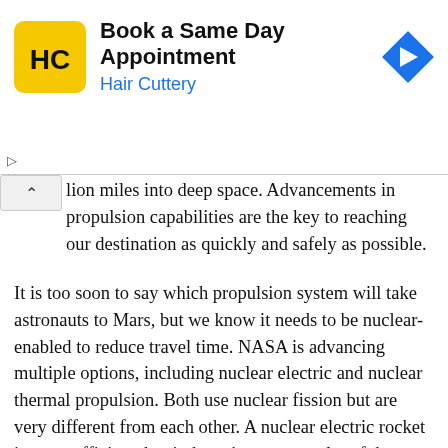[Figure (screenshot): Hair Cuttery advertisement banner with logo, 'Book a Same Day Appointment' heading, and navigation arrow icon]
lion miles into deep space. Advancements in propulsion capabilities are the key to reaching our destination as quickly and safely as possible.
It is too soon to say which propulsion system will take astronauts to Mars, but we know it needs to be nuclear-enabled to reduce travel time. NASA is advancing multiple options, including nuclear electric and nuclear thermal propulsion. Both use nuclear fission but are very different from each other. A nuclear electric rocket is more efficient, but it doesn't generate a lot of thrust. Nuclear thermal propulsion, on the other hand, provides much more “oomph.”